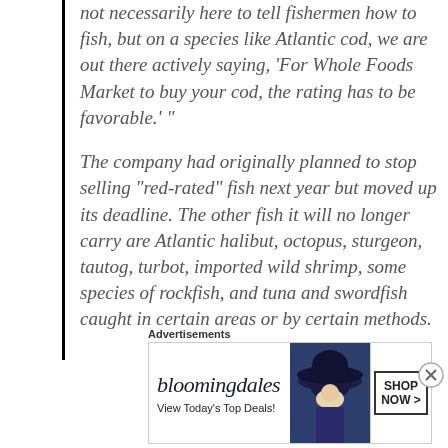not necessarily here to tell fishermen how to fish, but on a species like Atlantic cod, we are out there actively saying, 'For Whole Foods Market to buy your cod, the rating has to be favorable.' "

The company had originally planned to stop selling “red-rated” fish next year but moved up its deadline. The other fish it will no longer carry are Atlantic halibut, octopus, sturgeon, tautog, turbot, imported wild shrimp, some species of rockfish, and tuna and swordfish caught in certain areas or by certain methods.
Advertisements
[Figure (other): Bloomingdale's advertisement banner showing logo, 'View Today's Top Deals!' tagline, woman in large hat, and 'SHOP NOW >' button]